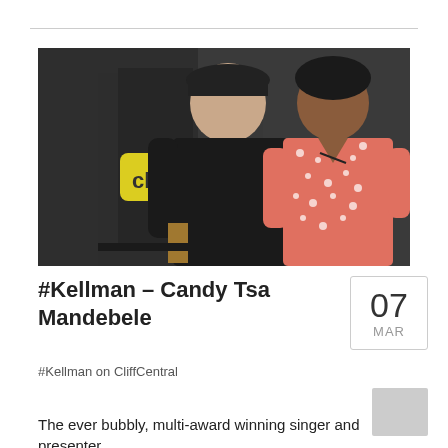[Figure (photo): Two people standing together in front of a dark wall with a yellow 'cliff' logo sign. A man in a black t-shirt and cap on the left, a woman in a red/pink floral shirt on the right.]
#Kellman – Candy Tsa Mandebele
07 MAR
#Kellman on CliffCentral
The ever bubbly, multi-award winning singer and presenter